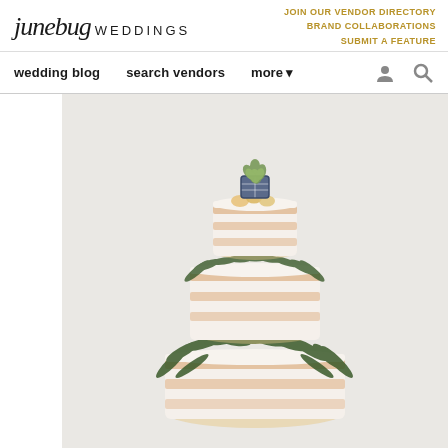junebug WEDDINGS | JOIN OUR VENDOR DIRECTORY  BRAND COLLABORATIONS  SUBMIT A FEATURE
wedding blog   search vendors   more
[Figure (photo): A three-tiered naked/semi-naked wedding cake with greenery between the layers and a small decorative pot with succulents on top, photographed against a light gray background.]